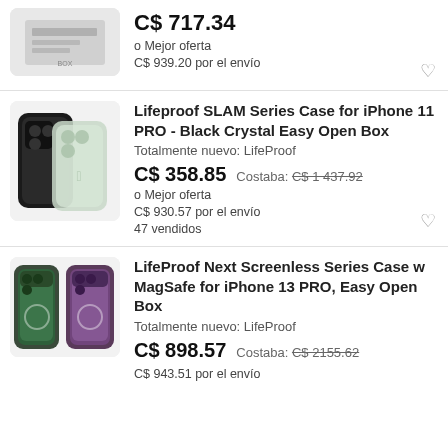[Figure (photo): Product image showing a boxed item]
C$ 717.34
o Mejor oferta
C$ 939.20 por el envío
[Figure (photo): Lifeproof SLAM case for iPhone 11 PRO in black]
Lifeproof SLAM Series Case for iPhone 11 PRO - Black Crystal Easy Open Box
Totalmente nuevo: LifeProof
C$ 358.85  Costaba: C$ 1 437.92
o Mejor oferta
C$ 930.57 por el envío
47 vendidos
[Figure (photo): LifeProof Next Screenless cases in multiple colors for iPhone 13 PRO]
LifeProof Next Screenless Series Case w MagSafe for iPhone 13 PRO, Easy Open Box
Totalmente nuevo: LifeProof
C$ 898.57  Costaba: C$ 2155.62
C$ 943.51 por el envío